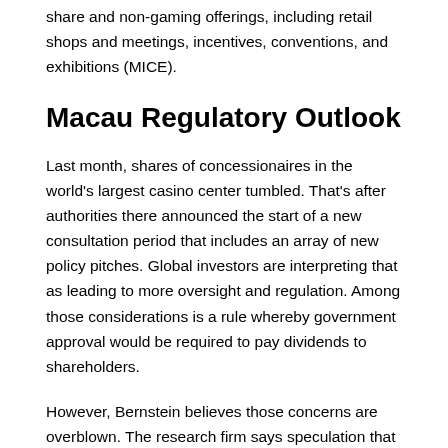share and non-gaming offerings, including retail shops and meetings, incentives, conventions, and exhibitions (MICE).
Macau Regulatory Outlook
Last month, shares of concessionaires in the world's largest casino center tumbled. That's after authorities there announced the start of a new consultation period that includes an array of new policy pitches. Global investors are interpreting that as leading to more oversight and regulation. Among those considerations is a rule whereby government approval would be required to pay dividends to shareholders.
However, Bernstein believes those concerns are overblown. The research firm says speculation that China is looking to reduce the role of or even force US-based companies out of Macau is "unfounded" and "without evidence." There are six